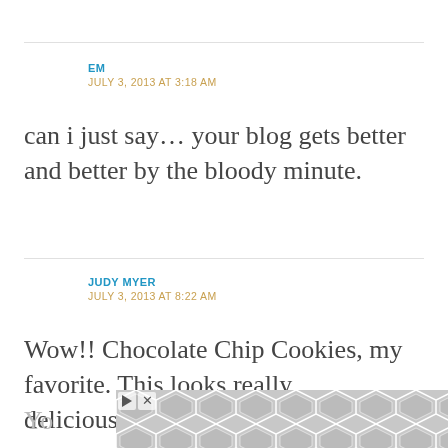EM
JULY 3, 2013 AT 3:18 AM
can i just say… your blog gets better and better by the bloody minute.
JUDY MYER
JULY 3, 2013 AT 8:22 AM
Wow!! Chocolate Chip Cookies, my favorite. This looks really delicious!!!!!!
[Figure (other): Advertisement banner with hexagonal pattern and play/close icons]